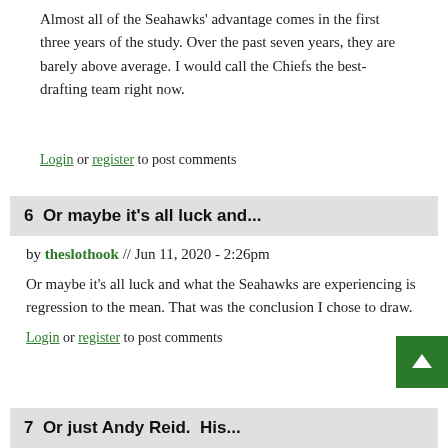Almost all of the Seahawks' advantage comes in the first three years of the study. Over the past seven years, they are barely above average. I would call the Chiefs the best-drafting team right now.
Login or register to post comments
6  Or maybe it's all luck and...
by theslothook // Jun 11, 2020 - 2:26pm
Or maybe it's all luck and what the Seahawks are experiencing is regression to the mean. That was the conclusion I chose to draw.
Login or register to post comments
7  Or just Andy Reid.  His...